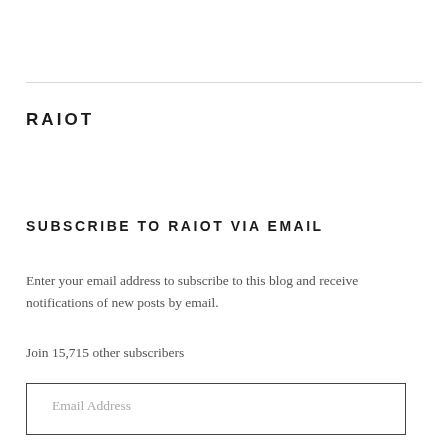RAIOT
SUBSCRIBE TO RAIOT VIA EMAIL
Enter your email address to subscribe to this blog and receive notifications of new posts by email.
Join 15,715 other subscribers